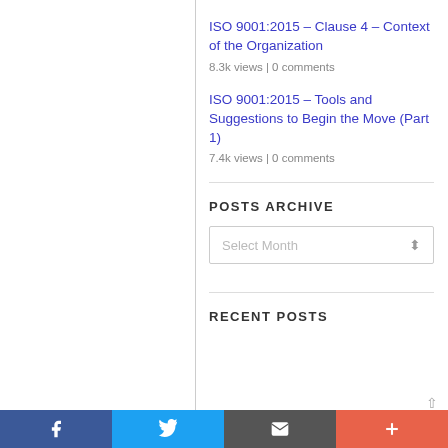ISO 9001:2015 – Clause 4 – Context of the Organization
8.3k views | 0 comments
ISO 9001:2015 – Tools and Suggestions to Begin the Move (Part 1)
7.4k views | 0 comments
POSTS ARCHIVE
Select Month
RECENT POSTS